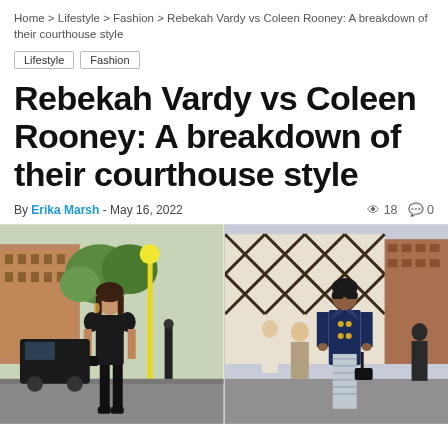Home > Lifestyle > Fashion > Rebekah Vardy vs Coleen Rooney: A breakdown of their courthouse style
Lifestyle
Fashion
Rebekah Vardy vs Coleen Rooney: A breakdown of their courthouse style
By Erika Marsh - May 16, 2022   18   0
[Figure (photo): Two side-by-side photographs of Rebekah Vardy and Coleen Rooney arriving at the Royal Courts of Justice in London. Left image shows a woman in all black outfit walking on a street with brick buildings and trees in the background. Right image shows a woman wearing a navy blazer with gold buttons over a patterned dress, wearing sunglasses, with London street buildings in the background.]